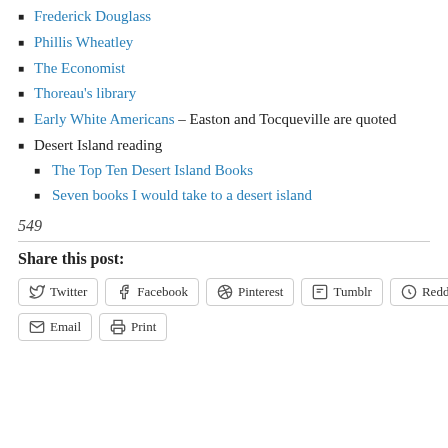Frederick Douglass
Phillis Wheatley
The Economist
Thoreau's library
Early White Americans – Easton and Tocqueville are quoted
Desert Island reading
The Top Ten Desert Island Books
Seven books I would take to a desert island
549
Share this post:
Twitter Facebook Pinterest Tumblr Reddit Email Print